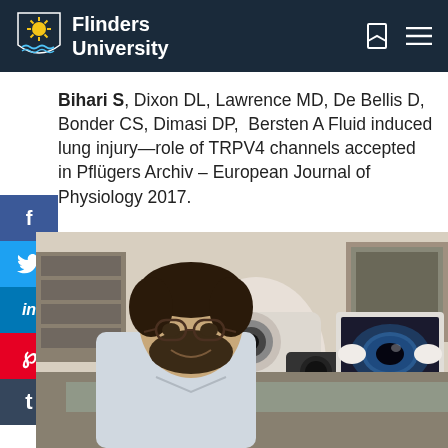Flinders University
Bihari S, Dixon DL, Lawrence MD, De Bellis D, Bonder CS, Dimasi DP, Bersten A Fluid induced lung injury—role of TRPV4 channels accepted in Pflügers Archiv – European Journal of Physiology 2017.
[Figure (photo): A young man with glasses and a beard sitting at a laboratory workstation with ophthalmic equipment and a computer monitor displaying a close-up image of a human eye.]